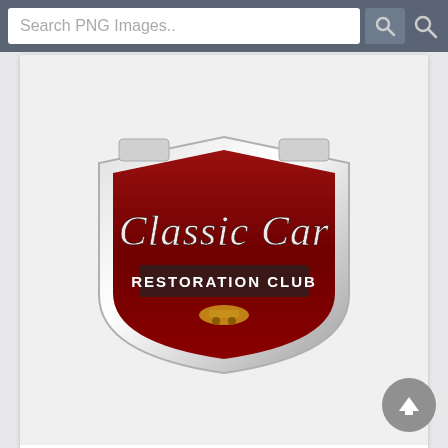[Figure (screenshot): Search bar UI with text input 'Search PNG Images..' and search buttons on a dark blue-grey header]
[Figure (logo): Classic Car Restoration Club shield logo in dark red with chrome border and script lettering]
Logo Antique Auto Club Png - Men…
Size: 500x254    filesize: 100.91 Kb
[Figure (logo): Antique Automobile Club of America oval logo with vintage car silhouette in black and white]